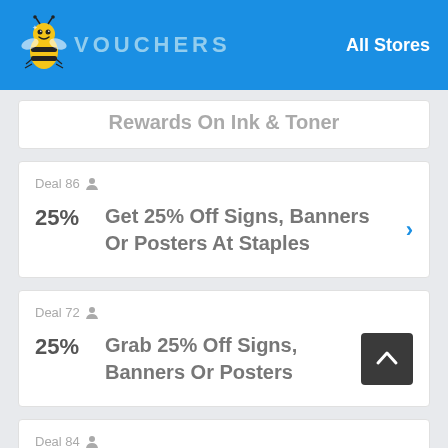VOUCHERS | All Stores
Rewards On Ink & Toner
Deal 86 | 25% | Get 25% Off Signs, Banners Or Posters At Staples
Deal 72 | 25% | Grab 25% Off Signs, Banners Or Posters
Deal 84